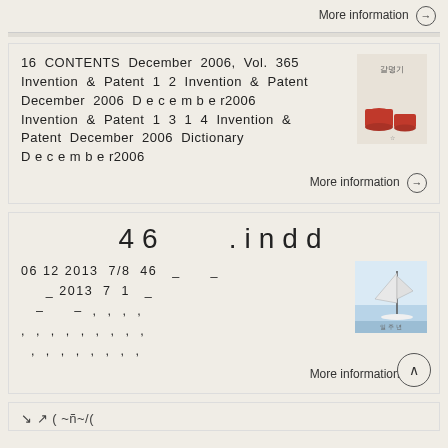More information →
16 CONTENTS December 2006, Vol. 365 Invention & Patent 1 2 Invention & Patent December 2006 D e c e m b e r2006 Invention & Patent 1 3 1 4 Invention & Patent December 2006 Dictionary D e c e m b e r2006
More information →
46    .indd
06 12 2013  7/8  46  _   _
   _ 2013  7  1   _
  –    –  ,  ,  ,  ,
 ,  ,  ,  ,  ,  ,  ,  ,  ,
  ,  ,  ,  ,  ,  ,  ,  ,
More information →
↑ ↗ ( ~ñ~/(